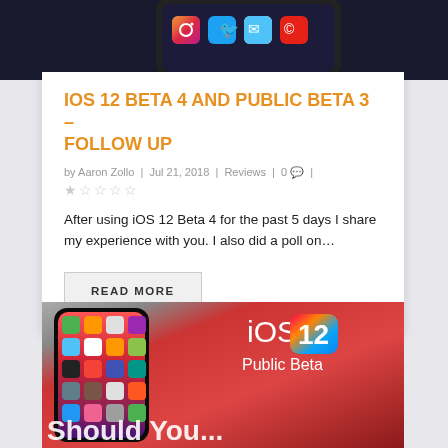[Figure (photo): Top portion of an iPhone screen showing app icons including Instagram, Twitter, and other apps on a dark background]
IOS 12 BETA 4 AND PUBLIC BETA 3 – FOLLOW UP
by Aaron Zollo | Jul 21, 2018 | Reviews | 0 💬 | ★☆☆☆☆
After using iOS 12 Beta 4 for the past 5 days I share my experience with you. I also did a poll on...
READ MORE
[Figure (photo): iPhone X showing iOS 12 home screen with app icons, overlaid with iOS 12 Public Beta logo/text on the right side and 'Should You...' text partially visible at the bottom]